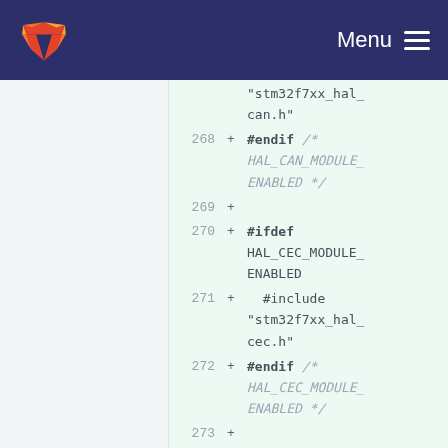GitLab navigation bar with logo and Menu
[Figure (screenshot): Code diff view showing lines 268-275 of a C header file with added lines including #endif HAL_CAN_MODULE_ENABLED, #ifdef HAL_CEC_MODULE_ENABLED, #include stm32f7xx_hal_cec.h, #endif HAL_CEC_MODULE_ENABLED, #ifdef HAL_CRC_MODULE_ENABLED, #include]
268 + #endif /* HAL_CAN_MODULE_ENABLED */
269 +
270 + #ifdef HAL_CEC_MODULE_ENABLED
271 +   #include "stm32f7xx_hal_cec.h"
272 + #endif /* HAL_CEC_MODULE_ENABLED */
273 +
274 + #ifdef HAL_CRC_MODULE_ENABLED
275 +   #include